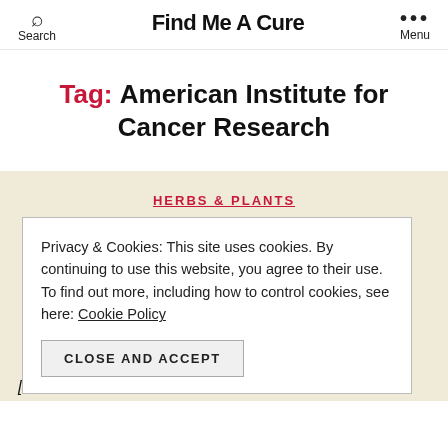Search | Find Me A Cure | Menu
Tag: American Institute for Cancer Research
HERBS & PLANTS
Privacy & Cookies: This site uses cookies. By continuing to use this website, you agree to their use. To find out more, including how to control cookies, see here: Cookie Policy
CLOSE AND ACCEPT
[amazon_link